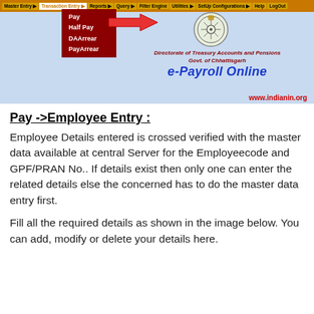[Figure (screenshot): Screenshot of e-Payroll Online web application by Directorate of Treasury Accounts and Pensions, Govt. of Chhattisgarh. Navigation bar with Transaction Entry dropdown showing Pay, Half Pay, DAArrear, PayArrear menu items with a red arrow pointing to the dropdown. Emblem and branding visible.]
Pay ->Employee Entry :
Employee Details entered is crossed verified with the master data available at central Server for the Employeecode and GPF/PRAN No.. If details exist then only one can enter the related details else the concerned has to do the master data entry first.
Fill all the required details as shown in the image below. You can add, modify or delete your details here.